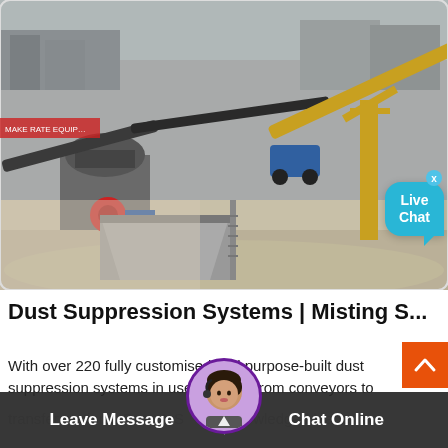[Figure (photo): Aerial view of an industrial mining or quarrying site with conveyor belts, crushers, heavy machinery, dust, and sandy terrain. Live Chat bubble overlay in top-right area of photo.]
Dust Suppression Systems | Misting S...
With over 220 fully customised and purpose-built dust suppression systems in use globally, from conveyors to transfer stations, Dust-A-S... acknowledged leader in this field. Most of these systems are triggered by remote
Leave Message   Chat Online